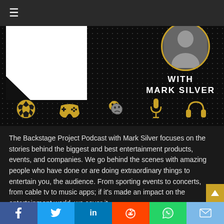[Figure (screenshot): Navigation bar with hamburger menu icon on dark background]
[Figure (illustration): Backstage Project Podcast banner with Mark Silver branding, white/black geometric logo shape, circular portrait, and entertainment icons (soccer ball, game controller, theater masks, microphone, headphones) on dark dotted background]
The Backstage Project Podcast with Mark Silver focuses on the stories behind the biggest and best entertainment products, events, and companies. We go behind the scenes with amazing people who have done or are doing extraordinary things to entertain you, the audience. From sporting events to concerts, from cable tv to music apps; if it's made an impact on the entertainment world, we cover it.
[Figure (infographic): Social sharing bar with Facebook (blue), Twitter (light blue), LinkedIn (dark blue), Reddit (orange-red), WhatsApp (green), Email (light blue) buttons]